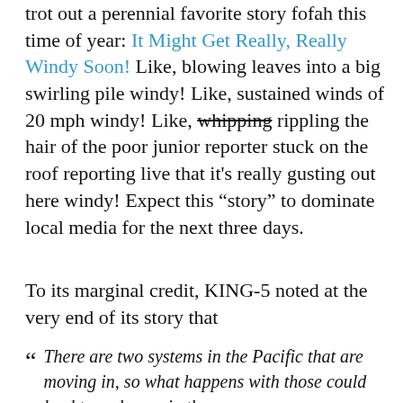trot out a perennial favorite story fofah this time of year: It Might Get Really, Really Windy Soon! Like, blowing leaves into a big swirling pile windy! Like, sustained winds of 20 mph windy! Like, whipping rippling the hair of the poor junior reporter stuck on the roof reporting live that it's really gusting out here windy! Expect this “story” to dominate local media for the next three days.
To its marginal credit, KING-5 noted at the very end of its story that
“There are two systems in the Pacific that are moving in, so what happens with those could lead to a change in the